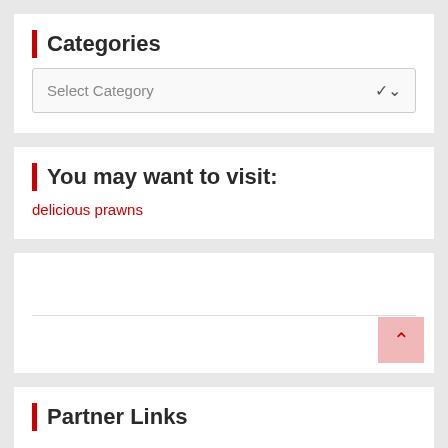Categories
Select Category
You may want to visit:
delicious prawns
[Figure (other): Advertisement or empty content box with a horizontal divider and a back-to-top arrow button in the bottom-right corner]
Partner Links